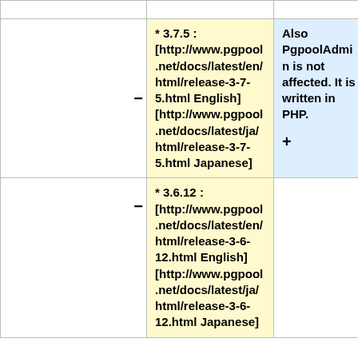|  | * 3.7.5 : [http://www.pgpool.net/docs/latest/en/html/release-3-7-5.html English] [http://www.pgpool.net/docs/latest/ja/html/release-3-7-5.html Japanese] | Also PgpoolAdmin is not affected. It is written in PHP. |
|  | * 3.6.12 : [http://www.pgpool.net/docs/latest/en/html/release-3-6-12.html English] [http://www.pgpool.net/docs/latest/ja/html/release-3-6-12.html Japanese] |  |